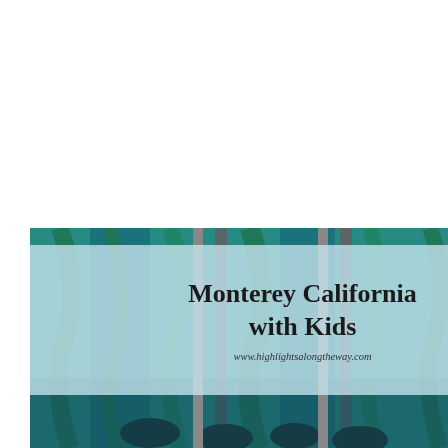[Figure (photo): White blank top area of the page]
[Figure (photo): Collage image for travel blog post titled 'Monterey California with Kids'. Left: large photo of children viewing a kelp forest aquarium tank. Top right: children sitting on a large seal sculpture on a sandy area. Middle right: two children eating at an outdoor market/street fair. Bottom right: partial photo of children indoors. Text overlay reads 'Monterey California with Kids' and 'www.highlightsalongtheway.com']
Monterey California with Kids
www.highlightsalongtheway.com